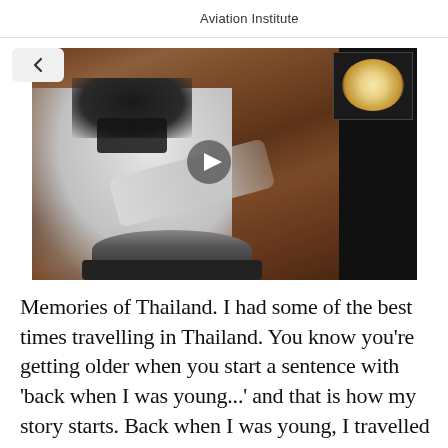Aviation Institute
[Figure (photo): Video player showing a person wearing a white hoodie and face mask cooking or working with a pot on a stovetop in what appears to be a kitchen with wooden background. A play button is visible in the center. A smaller thumbnail image in the top-right corner shows a bowl of food from above.]
Memories of Thailand. I had some of the best times travelling in Thailand. You know you're getting older when you start a sentence with 'back when I was young...' and that is how my story starts. Back when I was young, I travelled to Thailand and had a blast volunteering my time to help build a house, along with experiencing the Thai food and